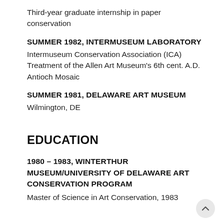Third-year graduate internship in paper conservation
Summer 1982, Intermuseum Laboratory
Intermuseum Conservation Association (ICA) Treatment of the Allen Art Museum's 6th cent. A.D. Antioch Mosaic
Summer 1981, Delaware Art Museum
Wilmington, DE
EDUCATION
1980 – 1983, Winterthur Museum/University of Delaware Art Conservation Program
Master of Science in Art Conservation, 1983